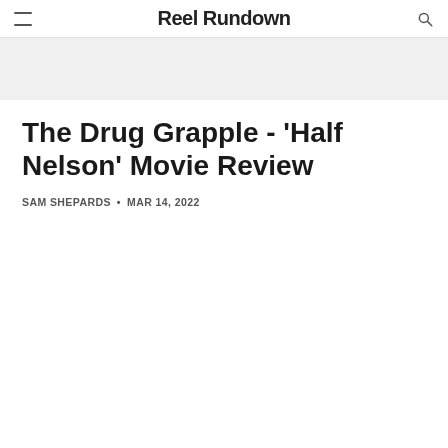Reel Rundown
The Drug Grapple - 'Half Nelson' Movie Review
SAM SHEPARDS • MAR 14, 2022